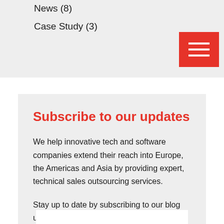News (8)
Case Study (3)
[Figure (other): Red hamburger menu button with three horizontal white lines]
Subscribe to our updates
We help innovative tech and software companies extend their reach into Europe, the Americas and Asia by providing expert, technical sales outsourcing services.
Stay up to date by subscribing to our blog updates!